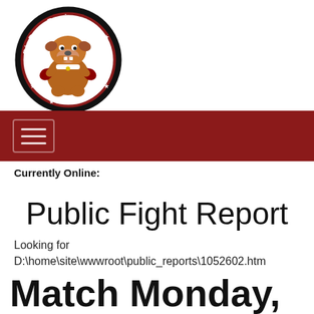[Figure (logo): BigDawgBoxing.com circular logo with a bulldog mascot wearing boxing gloves, red and black border with stars and site name text]
Navigation bar with hamburger menu icon on dark red background
Currently Online:
Public Fight Report
Looking for D:\home\site\wwwroot\public_reports\1052602.htm
Match Monday, August 20, 2018